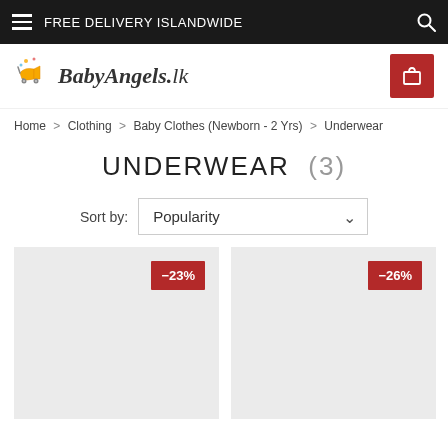FREE DELIVERY ISLANDWIDE
[Figure (logo): BabyAngels.lk logo with stroller icon]
Home > Clothing > Baby Clothes (Newborn - 2 Yrs) > Underwear
UNDERWEAR (3)
Sort by: Popularity
[Figure (photo): Product card 1 with -23% discount badge, light grey background]
[Figure (photo): Product card 2 with -26% discount badge, light grey background]